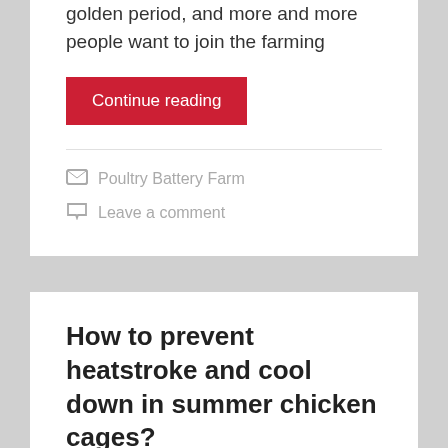golden period, and more and more people want to join the farming
Continue reading
Poultry Battery Farm
Leave a comment
How to prevent heatstroke and cool down in summer chicken cages?
Posted on July 28, 2021
In summer, the weather is hot and the feed intake of the chickens decreases, which affects the laying performance of